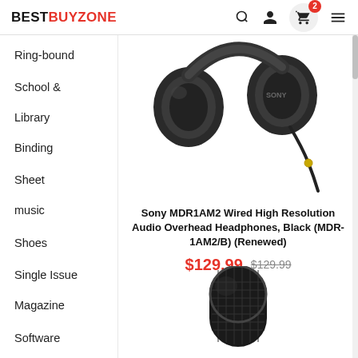BESTBUYZONE
Ring-bound
School & Library Binding
Sheet music
Shoes
Single Issue Magazine
Software
[Figure (photo): Sony MDR1AM2 black overhead wired headphones with cable]
Sony MDR1AM2 Wired High Resolution Audio Overhead Headphones, Black (MDR-1AM2/B) (Renewed)
$129.99  $129.99
[Figure (photo): Black microphone top portion visible at bottom of page]